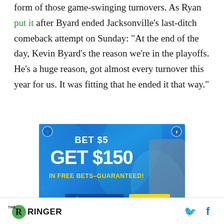form of those game-swinging turnovers. As Ryan put it after Byard ended Jacksonville's last-ditch comeback attempt on Sunday: "At the end of the day, Kevin Byard's the reason we're in the playoffs. He's a huge reason, got almost every turnover this year for us. It was fitting that he ended it that way."
[Figure (screenshot): FanDuel advertisement: BET $5 GET $150 IN FREE BETS-GUARANTEED! JOIN NOW]
THE RINGER [logo] [Twitter icon] [Facebook icon]